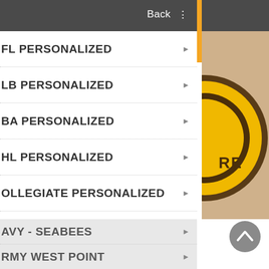Back :
NFL PERSONALIZED
MLB PERSONALIZED
NBA PERSONALIZED
NHL PERSONALIZED
COLLEGIATE PERSONALIZED
MILITARY PERSONALIZED
NAVY - SEABEES
ARMY WEST POINT
[Figure (logo): Partial circular logo on tan/kraft paper textured background showing yellow and brown circular emblem with text 'RE' visible]
[Figure (other): Gray circular scroll-up/back-to-top button with upward chevron arrow]